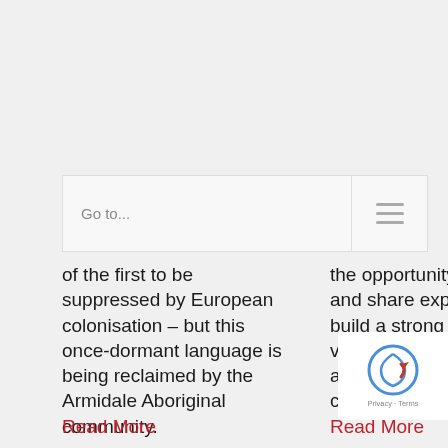Go to...
of the first to be suppressed by European colonisation – but this once-dormant language is being reclaimed by the Armidale Aboriginal community.
the opportunity to connect and share experiences, build a strong collective voice for systemic reform and better outcomes for children and communities.
Read More
Read More